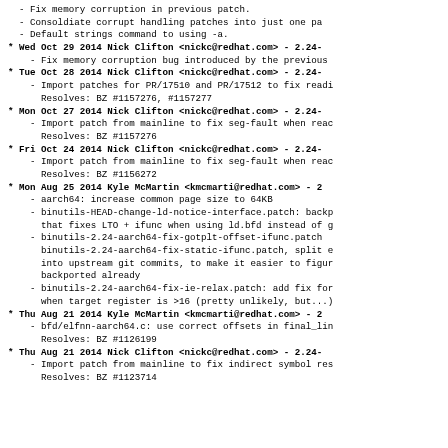- Fix memory corruption in previous patch.
- Consoldiate corrupt handling patches into just one pa
- Default strings command to using -a.
* Wed Oct 29 2014 Nick Clifton <nickc@redhat.com> - 2.24-
    - Fix memory corruption bug introduced by the previous
* Tue Oct 28 2014 Nick Clifton <nickc@redhat.com> - 2.24-
    - Import patches for PR/17510 and PR/17512 to fix readi
      Resolves: BZ #1157276, #1157277
* Mon Oct 27 2014 Nick Clifton <nickc@redhat.com> - 2.24-
    - Import patch from mainline to fix seg-fault when read
      Resolves: BZ #1157276
* Fri Oct 24 2014 Nick Clifton <nickc@redhat.com> - 2.24-
    - Import patch from mainline to fix seg-fault when read
      Resolves: BZ #1156272
* Mon Aug 25 2014 Kyle McMartin <kmcmarti@redhat.com> - 2
    - aarch64: increase common page size to 64KB
    - binutils-HEAD-change-ld-notice-interface.patch: backp
      that fixes LTO + ifunc when using ld.bfd instead of g
    - binutils-2.24-aarch64-fix-gotplt-offset-ifunc.patch
      binutils-2.24-aarch64-fix-static-ifunc.patch, split e
      into upstream git commits, to make it easier to figur
      backported already
    - binutils-2.24-aarch64-fix-ie-relax.patch: add fix for
      when target register is >16 (pretty unlikely, but...)
* Thu Aug 21 2014 Kyle McMartin <kmcmarti@redhat.com> - 2
    - bfd/elfnn-aarch64.c: use correct offsets in final_lin
      Resolves: BZ #1126199
* Thu Aug 21 2014 Nick Clifton <nickc@redhat.com> - 2.24-
    - Import patch from mainline to fix indirect symbol res
      Resolves: BZ #1123714